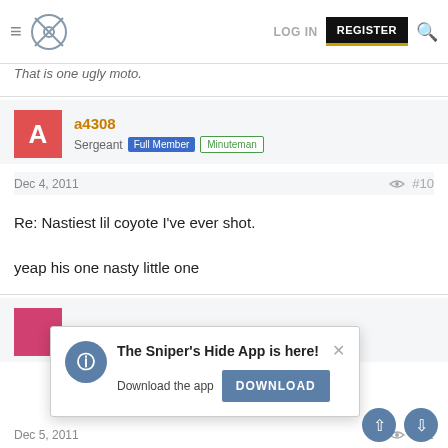LOG IN  REGISTER
That is one ugly moto.
a4308
Sergeant  Full Member  Minuteman
Dec 4, 2011  #10
Re: Nastiest lil coyote I've ever shot.

yeap his one nasty little one
Dec 5, 2011  #11
The Sniper's Hide App is here!
Download the app  DOWNLOAD